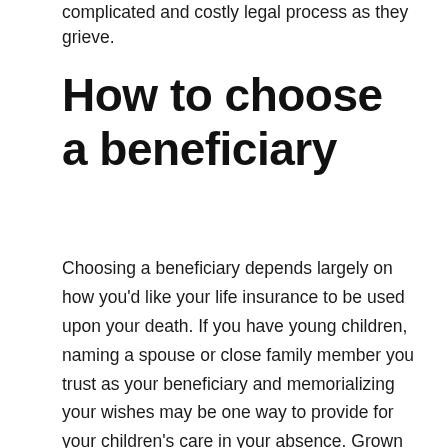complicated and costly legal process as they grieve.
How to choose a beneficiary
Choosing a beneficiary depends largely on how you'd like your life insurance to be used upon your death. If you have young children, naming a spouse or close family member you trust as your beneficiary and memorializing your wishes may be one way to provide for your children's care in your absence. Grown children could use the insurance benefit to help pay for college. And if you choose a